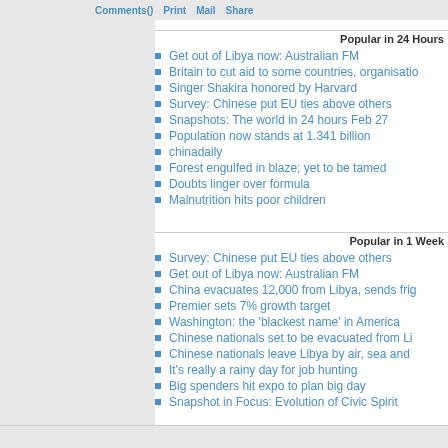Comments() | Print | Mail | Share
Popular in 24 Hours
Get out of Libya now: Australian FM
Britain to cut aid to some countries, organisatio...
Singer Shakira honored by Harvard
Survey: Chinese put EU ties above others
Snapshots: The world in 24 hours Feb 27
Population now stands at 1.341 billion
chinadaily
Forest engulfed in blaze; yet to be tamed
Doubts linger over formula
Malnutrition hits poor children
Popular in 1 Week
Survey: Chinese put EU ties above others
Get out of Libya now: Australian FM
China evacuates 12,000 from Libya, sends frig...
Premier sets 7% growth target
Washington: the 'blackest name' in America
Chinese nationals set to be evacuated from Li...
Chinese nationals leave Libya by air, sea and ...
It's really a rainy day for job hunting
Big spenders hit expo to plan big day
Snapshot in Focus: Evolution of Civic Spirit